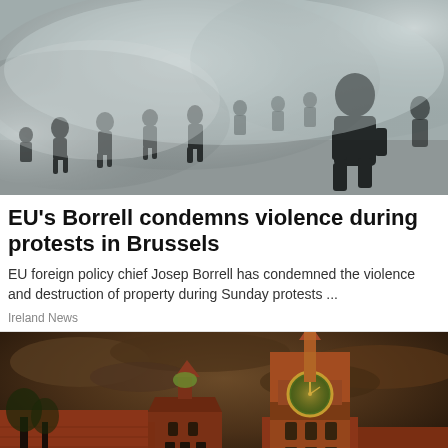[Figure (photo): People running through smoke/tear gas during protests in Brussels, riot police and civilians visible in smoky haze]
EU's Borrell condemns violence during protests in Brussels
EU foreign policy chief Josep Borrell has condemned the violence and destruction of property during Sunday protests ...
Ireland News
[Figure (photo): Kremlin Spasskaya tower illuminated at night with dramatic cloudy sky, Moscow Red Square]